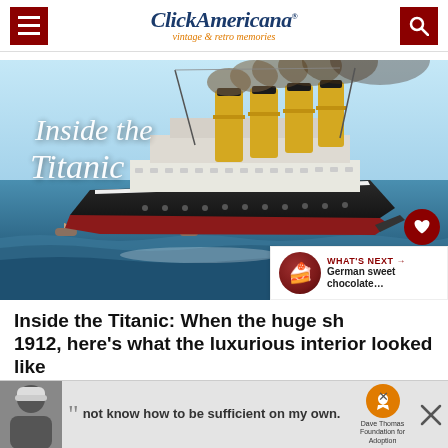Click Americana — vintage & retro memories
[Figure (illustration): Illustrated vintage painting of the RMS Titanic ocean liner at sea, with four yellow smokestacks emitting smoke, sailing on blue ocean waves. White script text overlay reads 'Inside the Titanic'.]
Inside the Titanic: When the huge ship sank in 1912, here's what the luxurious interior looked like
[Figure (infographic): Advertisement banner with a person in a beanie hat, quotation marks, text 'not know how to be sufficient on my own.' and a Dave Thomas Foundation for Adoption logo]